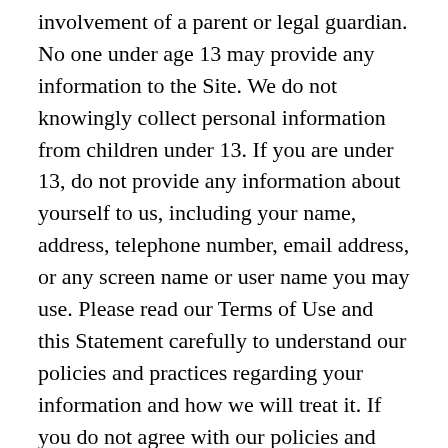involvement of a parent or legal guardian. No one under age 13 may provide any information to the Site. We do not knowingly collect personal information from children under 13. If you are under 13, do not provide any information about yourself to us, including your name, address, telephone number, email address, or any screen name or user name you may use. Please read our Terms of Use and this Statement carefully to understand our policies and practices regarding your information and how we will treat it. If you do not agree with our policies and practices, your choice is not to use our Website. By accessing or using this Website, you agree to this Privacy Statement, including any relevant supplemental privacy statements. This Privacy Statement may change from time to time (see Changes to Our Privacy Statement). Your